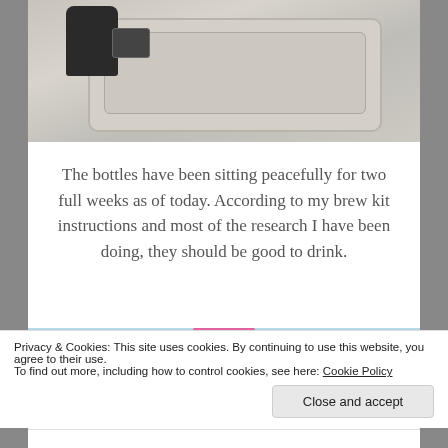[Figure (photo): Photo of dark bottles in a light-colored plastic storage tray or container, viewed from above at an angle. The tray is beige/grey plastic with ridged interior.]
The bottles have been sitting peacefully for two full weeks as of today. According to my brew kit instructions and most of the research I have been doing, they should be good to drink.
[Figure (illustration): Tumblr ad banner with blue background, pink circle at top, yellow sparkle star, and bold text reading 'TUMBLR AD-FREE BROWSING']
Privacy & Cookies: This site uses cookies. By continuing to use this website, you agree to their use.
To find out more, including how to control cookies, see here: Cookie Policy
Close and accept